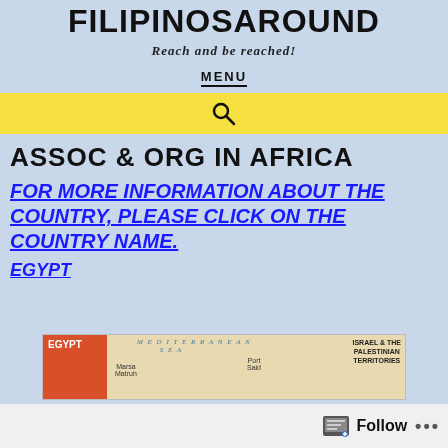FILIPINOSAROUND
Reach and be reached!
MENU
[Figure (other): Yellow search bar with magnifying glass icon]
ASSOC & ORG IN AFRICA
FOR MORE INFORMATION ABOUT THE COUNTRY, PLEASE CLICK ON THE COUNTRY NAME.
EGYPT
[Figure (map): Partial map of Egypt showing Mediterranean Sea, Marsa Matruh, Port Said, Israel & The Palestinian Territories labels]
Follow ...